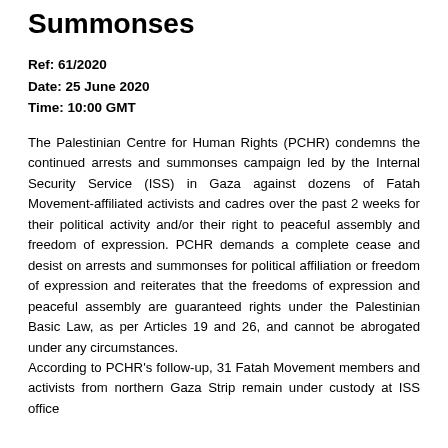Summonses
Ref: 61/2020
Date: 25 June 2020
Time: 10:00 GMT
The Palestinian Centre for Human Rights (PCHR) condemns the continued arrests and summonses campaign led by the Internal Security Service (ISS) in Gaza against dozens of Fatah Movement-affiliated activists and cadres over the past 2 weeks for their political activity and/or their right to peaceful assembly and freedom of expression. PCHR demands a complete cease and desist on arrests and summonses for political affiliation or freedom of expression and reiterates that the freedoms of expression and peaceful assembly are guaranteed rights under the Palestinian Basic Law, as per Articles 19 and 26, and cannot be abrogated under any circumstances.
According to PCHR's follow-up, 31 Fatah Movement members and activists from northern Gaza Strip remain under custody at ISS office